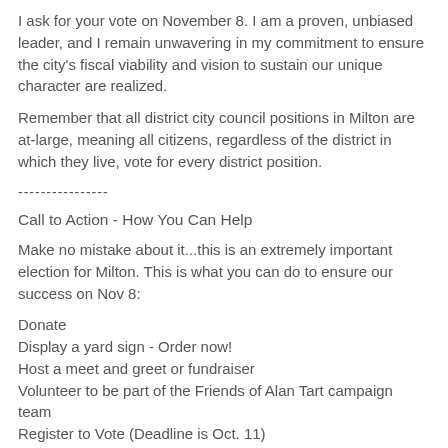I ask for your vote on November 8. I am a proven, unbiased leader, and I remain unwavering in my commitment to ensure the city's fiscal viability and vision to sustain our unique character are realized.
Remember that all district city council positions in Milton are at-large, meaning all citizens, regardless of the district in which they live, vote for every district position.
----------------
Call to Action - How You Can Help
Make no mistake about it...this is an extremely important election for Milton. This is what you can do to ensure our success on Nov 8:
Donate
Display a yard sign - Order now!
Host a meet and greet or fundraiser
Volunteer to be part of the Friends of Alan Tart campaign team
Register to Vote (Deadline is Oct. 11)